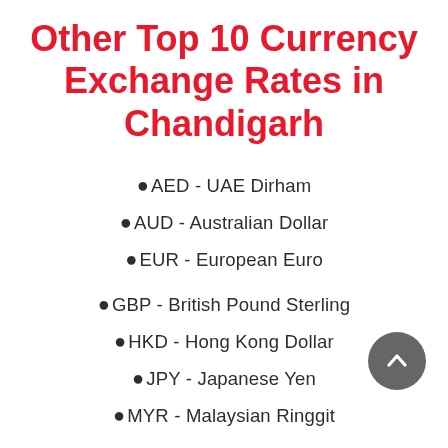Other Top 10 Currency Exchange Rates in Chandigarh
AED - UAE Dirham
AUD - Australian Dollar
EUR - European Euro
GBP - British Pound Sterling
HKD - Hong Kong Dollar
JPY - Japanese Yen
MYR - Malaysian Ringgit